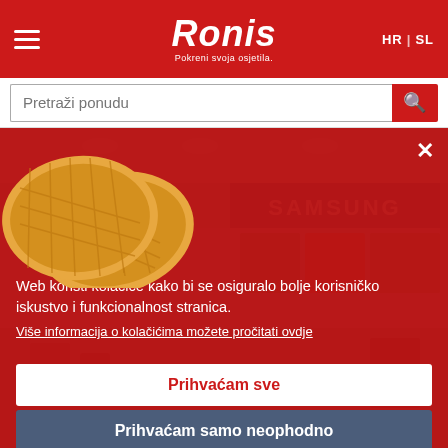Ronis – Pokreni svoja osjetila. HR | SL
Pretraži ponudu
[Figure (screenshot): Samsung electronics store interior with display screens and blue Samsung branding sign]
Web koristi kolačiće kako bi se osiguralo bolje korisničko iskustvo i funkcionalnost stranica.
Više informacija o kolačićima možete pročitati ovdje
Prihvaćam sve
Prihvaćam samo neophodno